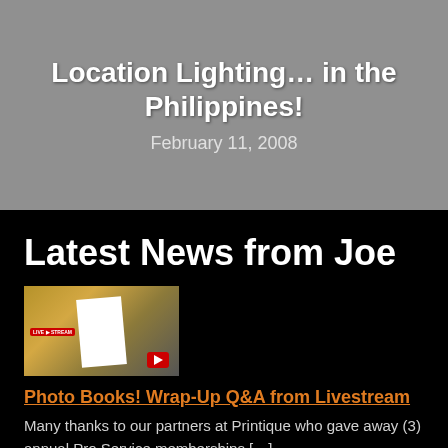Location Lighting… in the Philippines!
February 11, 2008
Latest News from Joe
[Figure (photo): Thumbnail image showing photo books displayed in a gallery with framed photos on wall, with a LIVE STREAM badge and YouTube icon overlay]
Photo Books! Wrap-Up Q&A from Livestream
Many thanks to our partners at Printique who gave away (3) annual Pro Service memberships […]